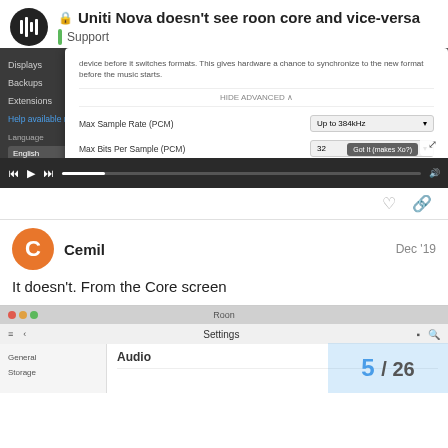🔒 Uniti Nova doesn't see roon core and vice-versa — Support
[Figure (screenshot): Roon settings dialog showing HIDE ADVANCED section with Max Sample Rate (PCM) set to Up to 384kHz and Max Bits Per Sample (PCM) set to 32, with Load Defaults, Cancel, and Save buttons]
It doesn't. From the Core screen
[Figure (screenshot): Roon application window showing Settings > Audio page with page counter 5/26]